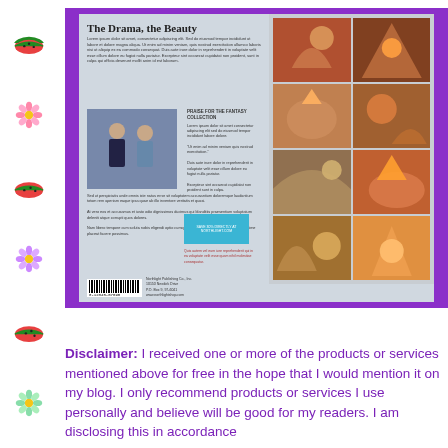[Figure (photo): Photograph of the back cover of a fantasy art book titled 'The Drama, the Beauty', shown against a purple-framed background laid on a plaid fabric surface. The back cover shows text, a photo of two people, a grid of 8 fantasy artwork thumbnails, and a barcode.]
Disclaimer: I received one or more of the products or services mentioned above for free in the hope that I would mention it on my blog. I only recommend products or services I use personally and believe will be good for my readers. I am disclosing this in accordance